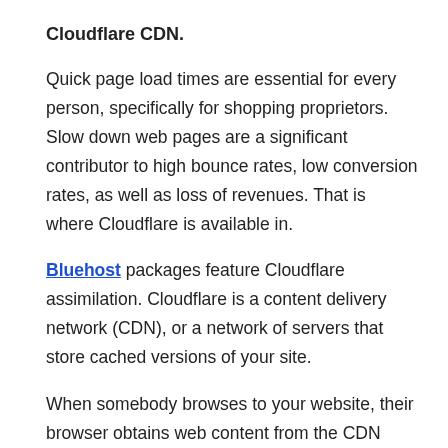Cloudflare CDN.
Quick page load times are essential for every person, specifically for shopping proprietors. Slow down web pages are a significant contributor to high bounce rates, low conversion rates, as well as loss of revenues. That is where Cloudflare is available in.
Bluehost packages feature Cloudflare assimilation. Cloudflare is a content delivery network (CDN), or a network of servers that store cached versions of your site.
When somebody browses to your website, their browser obtains web content from the CDN factor closest to them, lowering the quantity of time it takes for the information to travel.
Exactly How Does Bluehost Maintain Your Site Secure?